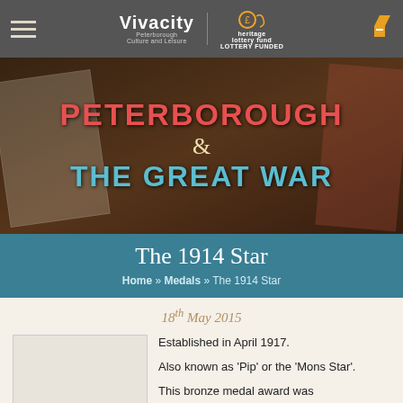Vivacity Peterborough Culture and Leisure | Heritage Lottery Fund LOTTERY FUNDED
[Figure (illustration): Hero banner image showing collage of WWI documents, letters, and ephemera on a dark wooden background with title text overlay]
The 1914 Star
Home » Medals » The 1914 Star
18th May 2015
Established in April 1917. Also known as 'Pip' or the 'Mons Star'. This bronze medal award was